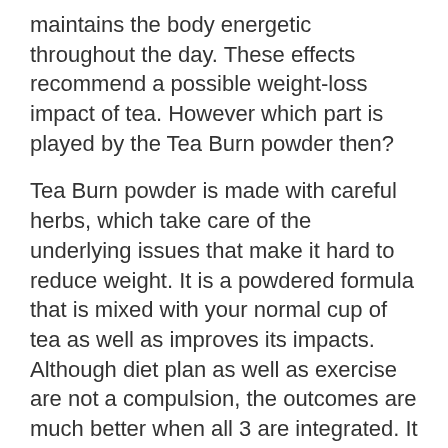maintains the body energetic throughout the day. These effects recommend a possible weight-loss impact of tea. However which part is played by the Tea Burn powder then?
Tea Burn powder is made with careful herbs, which take care of the underlying issues that make it hard to reduce weight. It is a powdered formula that is mixed with your normal cup of tea as well as improves its impacts. Although diet plan as well as exercise are not a compulsion, the outcomes are much better when all 3 are integrated. It is currently in stock and available for a reduced rate.
(ACT NOW & SAVE) Get Tea Burn From The Official Internet site With Up To 50% OFF